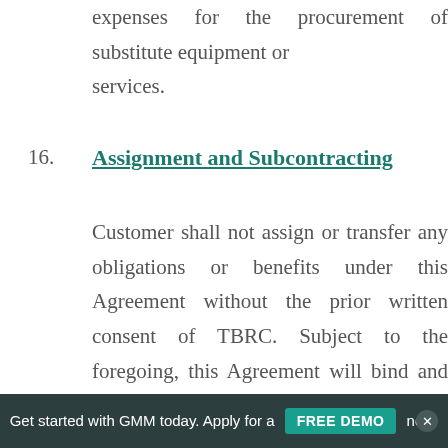expenses for the procurement of substitute equipment or services.
16. Assignment and Subcontracting
Customer shall not assign or transfer any obligations or benefits under this Agreement without the prior written consent of TBRC. Subject to the foregoing, this Agreement will bind and inure to the benefit of the parties and their respective successors and permitted assigns. The Services may be provided by TBRC or individuals or organizations employed by or under contract with TBRC, at the discretion of TBRC, provided that TBRC shall be responsible for the performance of such individuals...
Get started with GMM today. Apply for a FREE DEMO now!